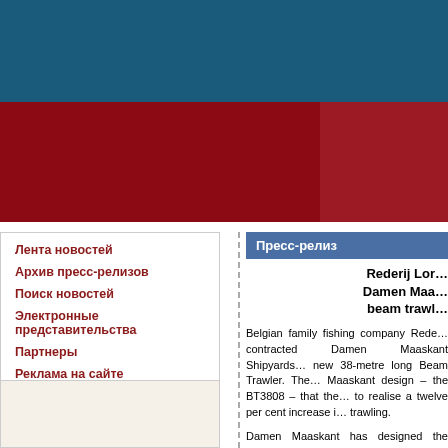[Figure (other): Website header with teal/blue band at top]
[Figure (other): Red decorative band below header with lighter red section on right]
Лента новостей
Архив пресс-релизов
Поиск новостей
Электронные представительства
Партнеры
Реклама на сайте
Контакты
Пресс-релиз
Rederij Lon… Damen Maa… beam trawl…
Belgian family fishing company Rede… contracted Damen Maaskant Shipyards… new 38-metre long Beam Trawler. The… Maaskant design – the BT3808 – that the… to realise a twelve per cent increase i… trawling.
Damen Maaskant has designed the new… within the maximum length and gross ton… Belgian Maritime Inspectorate. Furthermo…